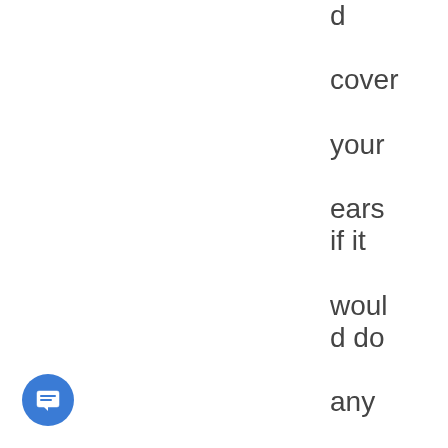d cover your ears if it would do any good. The mage turns, with a dark grin on
[Figure (other): Blue circular chat/message button icon in the bottom-left corner]